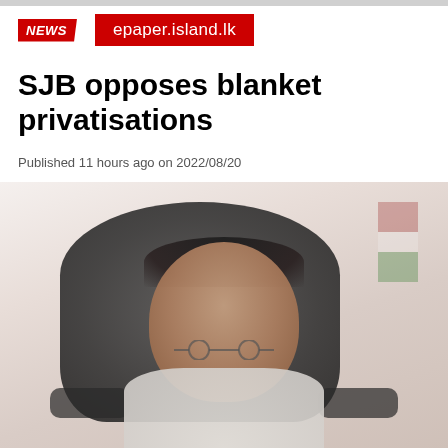epaper.island.lk
NEWS
SJB opposes blanket privatisations
Published 11 hours ago on 2022/08/20
[Figure (photo): A man in white clothing seated in a dark leather chair, wearing glasses, with a flag visible in the background]